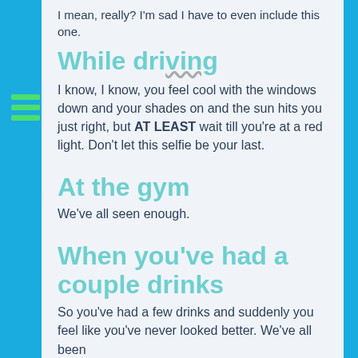I mean, really? I'm sad I have to even include this one.
While driving
I know, I know, you feel cool with the windows down and your shades on and the sun hits you just right, but AT LEAST wait till you're at a red light. Don't let this selfie be your last.
At the gym
We've all seen enough.
When you've had a couple drinks
So you've had a few drinks and suddenly you feel like you've never looked better. We've all been